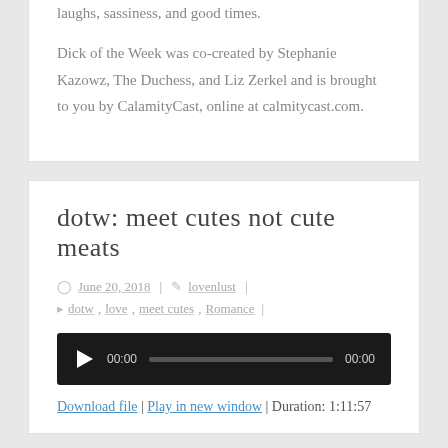laughs, sassiness, and good times.
Dick of the Week was co-created by Stephanie Kazowz, The Duchess, and Liz Zerkel and is brought to you by CalamityCast, online at calmitycast.com.
dotw: meet cutes not cute meats
June 20, 2018 | lovenlust |
dotw , love , meet cutes , Romance |
[Figure (other): Audio player with play button, time display 00:00, progress bar, and end time 00:00]
Download file | Play in new window | Duration: 1:11:57